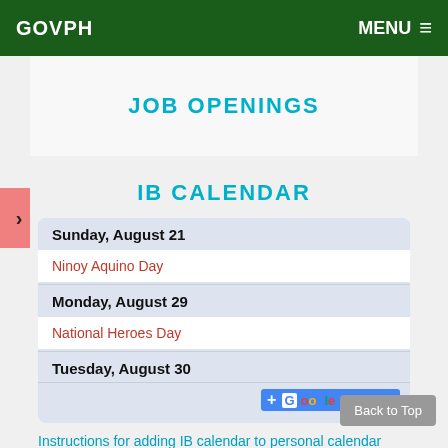GOVPH  MENU
JOB OPENINGS
IB CALENDAR
Sunday, August 21
Ninoy Aquino Day
Monday, August 29
National Heroes Day
Tuesday, August 30
Instructions for adding IB calendar to personal calendar
Back to Top